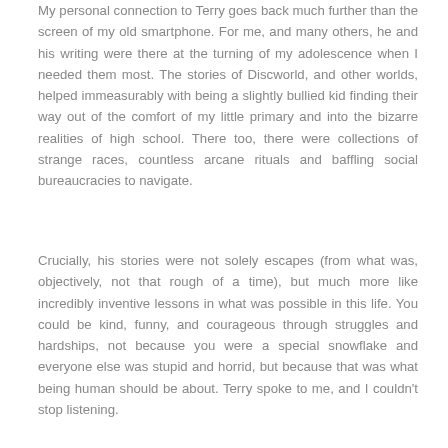My personal connection to Terry goes back much further than the screen of my old smartphone. For me, and many others, he and his writing were there at the turning of my adolescence when I needed them most. The stories of Discworld, and other worlds, helped immeasurably with being a slightly bullied kid finding their way out of the comfort of my little primary and into the bizarre realities of high school. There too, there were collections of strange races, countless arcane rituals and baffling social bureaucracies to navigate.
Crucially, his stories were not solely escapes (from what was, objectively, not that rough of a time), but much more like incredibly inventive lessons in what was possible in this life. You could be kind, funny, and courageous through struggles and hardships, not because you were a special snowflake and everyone else was stupid and horrid, but because that was what being human should be about. Terry spoke to me, and I couldn't stop listening.